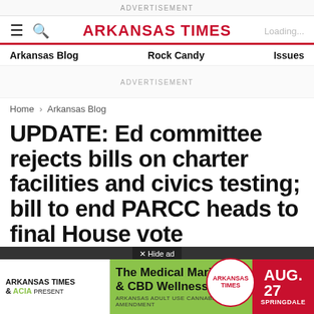ADVERTISEMENT
ARKANSAS TIMES
Arkansas Blog    Rock Candy    Issues
ADVERTISEMENT
Home › Arkansas Blog
UPDATE: Ed committee rejects bills on charter facilities and civics testing; bill to end PARCC heads to final House vote
BY Benjamin ...
ON March ...
[Figure (screenshot): Advertisement overlay: Arkansas Times & ACIA present The Medical Marijuana & CBD Wellness Expo, AUG. 27, SPRINGDALE. Arkansas Adult Use Cannabis Amendment.]